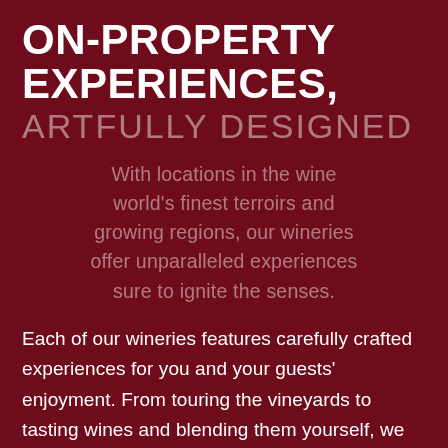ON-PROPERTY EXPERIENCES, ARTFULLY DESIGNED
With locations in the wine world's finest terroirs and growing regions, our wineries offer unparalleled experiences sure to ignite the senses.
Each of our wineries features carefully crafted experiences for you and your guests' enjoyment. From touring the vineyards to tasting wines and blending them yourself, we offer something for everyone. Join us on-property for a memorable rendezvous!